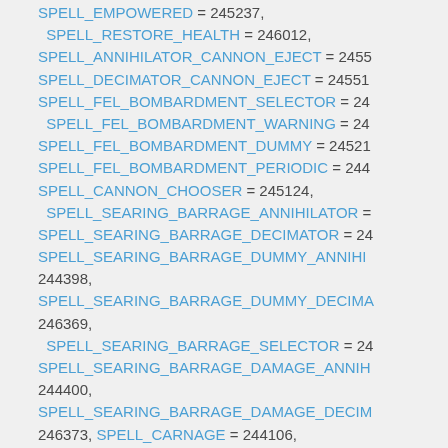Code listing showing spell constant definitions with names like SPELL_EMPOWERED, SPELL_RESTORE_HEALTH, SPELL_ANNIHILATOR_CANNON_EJECT, SPELL_DECIMATOR_CANNON_EJECT, SPELL_FEL_BOMBARDMENT_SELECTOR, SPELL_FEL_BOMBARDMENT_WARNING, SPELL_FEL_BOMBARDMENT_DUMMY, SPELL_FEL_BOMBARDMENT_PERIODIC, SPELL_CANNON_CHOOSER, SPELL_SEARING_BARRAGE_ANNIHILATOR, SPELL_SEARING_BARRAGE_DECIMATOR, SPELL_SEARING_BARRAGE_DUMMY_ANNIHILATOR, SPELL_SEARING_BARRAGE_DUMMY_DECIMATOR, SPELL_SEARING_BARRAGE_SELECTOR, SPELL_SEARING_BARRAGE_DAMAGE_ANNIHILATOR, SPELL_SEARING_BARRAGE_DAMAGE_DECIMATOR, SPELL_CARNAGE, SPELL_DECIMATION_SELECTOR with their numeric values.